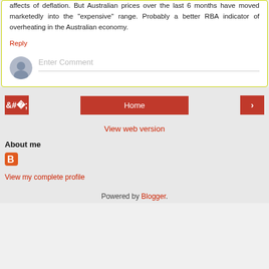affects of deflation. But Australian prices over the last 6 months have moved marketedly into the "expensive" range. Probably a better RBA indicator of overheating in the Australian economy.
Reply
[Figure (other): Comment input area with avatar icon and 'Enter Comment' placeholder text]
[Figure (other): Navigation buttons: left arrow, Home, right arrow]
View web version
About me
[Figure (logo): Blogger orange B logo icon]
View my complete profile
Powered by Blogger.